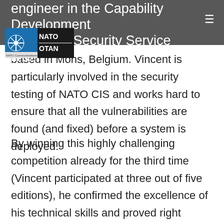engineer in the Capability Development
the Cyber Security Service line
[Figure (logo): NATO OTAN / NATO Communications and Information Agency (NCI Agency) logo on grey header bar]
based in Mons, Belgium. Vincent is particularly involved in the security testing of NATO CIS and works hard to ensure that all the vulnerabilities are found (and fixed) before a system is deployed.
By winning this highly challenging competition already for the third time (Vincent participated at three out of five editions), he confirmed the excellence of his technical skills and proved right Aristotle's famous saying: 'We are what